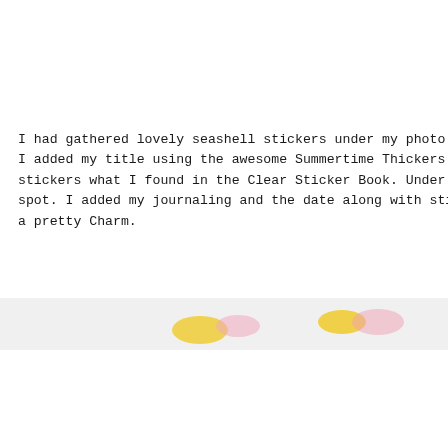I had gathered lovely seashell stickers under my photo t I added my title using the awesome Summertime Thickers. stickers what I found in the Clear Sticker Book. Under m spot. I added my journaling and the date along with stic a pretty Charm.
[Figure (photo): A light gray horizontal strip with blurred yellow and pink blobs/stickers visible on it, cropped at the right edge of the page.]